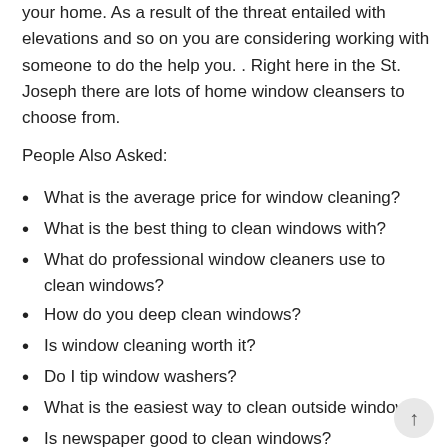your home. As a result of the threat entailed with elevations and so on you are considering working with someone to do the help you. . Right here in the St. Joseph there are lots of home window cleansers to choose from.
People Also Asked:
What is the average price for window cleaning?
What is the best thing to clean windows with?
What do professional window cleaners use to clean windows?
How do you deep clean windows?
Is window cleaning worth it?
Do I tip window washers?
What is the easiest way to clean outside windows?
Is newspaper good to clean windows?
How do you clean outside windows without wiping?